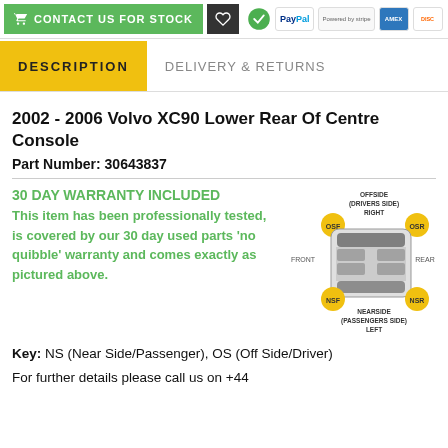[Figure (screenshot): Top navigation bar with contact button, heart/wishlist icon, and payment icons (SSL, PayPal, Stripe, American Express, Discover)]
DESCRIPTION
DELIVERY & RETURNS
2002 - 2006 Volvo XC90 Lower Rear Of Centre Console
Part Number: 30643837
30 DAY WARRANTY INCLUDED
This item has been professionally tested, is covered by our 30 day used parts 'no quibble' warranty and comes exactly as pictured above.
[Figure (illustration): Car diagram showing top-down view with labels: OFFSIDE (DRIVERS SIDE) RIGHT, OSF, OSR, FRONT, REAR, NSF, NEARSIDE (PASSENGERS SIDE) LEFT, NSR]
Key: NS (Near Side/Passenger), OS (Off Side/Driver)
For further details please call us on +44